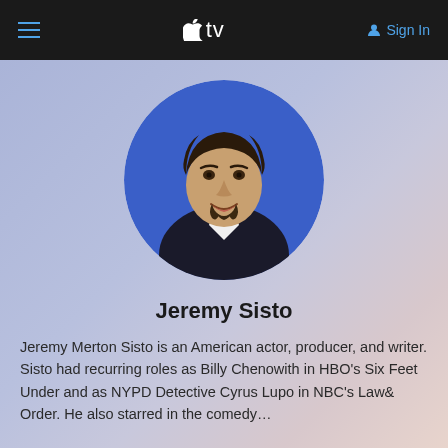Apple TV — Sign In
[Figure (photo): Circular cropped headshot photo of Jeremy Sisto, a man with dark hair and a goatee, wearing a white shirt and dark jacket, smiling, against a blue background.]
Jeremy Sisto
Jeremy Merton Sisto is an American actor, producer, and writer. Sisto had recurring roles as Billy Chenowith in HBO's Six Feet Under and as NYPD Detective Cyrus Lupo in NBC's Law& Order. He also starred in the comedy…